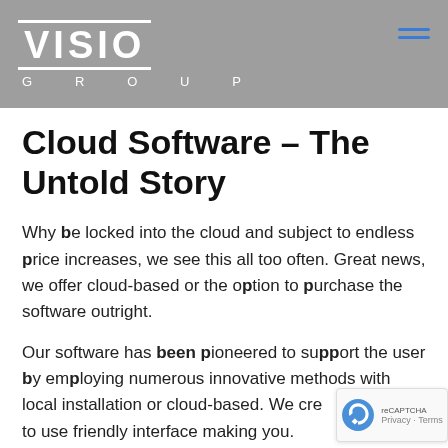[Figure (logo): VISIO GROUP logo in white text on grey background header bar, with hamburger menu icon in blue on the right]
Cloud Software – The Untold Story
Why be locked into the cloud and subject to endless price increases, we see this all too often. Great news, we offer cloud-based or the option to purchase the software outright.
Our software has been pioneered to support the user by employing numerous innovative methods with local installation or cloud-based. We cre an easy to use friendly interface making you.